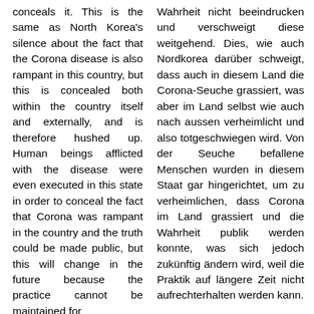conceals it. This is the same as North Korea's silence about the fact that the Corona disease is also rampant in this country, but this is concealed both within the country itself and externally, and is therefore hushed up. Human beings afflicted with the disease were even executed in this state in order to conceal the fact that Corona was rampant in the country and the truth could be made public, but this will change in the future because the practice cannot be maintained for
Wahrheit nicht beeindrucken und verschweigt diese weitgehend. Dies, wie auch Nordkorea darüber schweigt, dass auch in diesem Land die Corona-Seuche grassiert, was aber im Land selbst wie auch nach aussen verheimlicht und also totgeschwiegen wird. Von der Seuche befallene Menschen wurden in diesem Staat gar hingerichtet, um zu verheimlichen, dass Corona im Land grassiert und die Wahrheit publik werden konnte, was sich jedoch zukünftig ändern wird, weil die Praktik auf längere Zeit nicht aufrechterhalten werden kann.